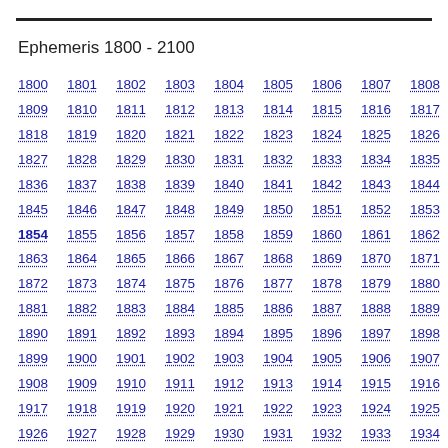Ephemeris 1800 - 2100
1800 1801 1802 1803 1804 1805 1806 1807 1808
1809 1810 1811 1812 1813 1814 1815 1816 1817
1818 1819 1820 1821 1822 1823 1824 1825 1826
1827 1828 1829 1830 1831 1832 1833 1834 1835
1836 1837 1838 1839 1840 1841 1842 1843 1844
1845 1846 1847 1848 1849 1850 1851 1852 1853
1854 1855 1856 1857 1858 1859 1860 1861 1862
1863 1864 1865 1866 1867 1868 1869 1870 1871
1872 1873 1874 1875 1876 1877 1878 1879 1880
1881 1882 1883 1884 1885 1886 1887 1888 1889
1890 1891 1892 1893 1894 1895 1896 1897 1898
1899 1900 1901 1902 1903 1904 1905 1906 1907
1908 1909 1910 1911 1912 1913 1914 1915 1916
1917 1918 1919 1920 1921 1922 1923 1924 1925
1926 1927 1928 1929 1930 1931 1932 1933 1934